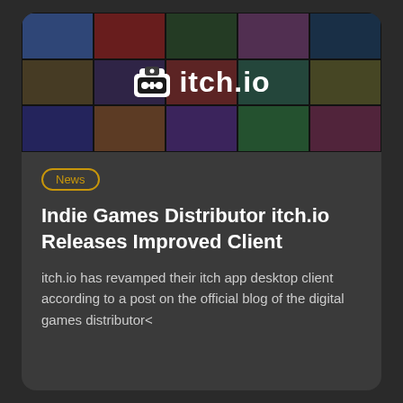[Figure (screenshot): itch.io website header/banner showing a mosaic of game cover art with the itch.io logo (gamepad icon + text) centered in white on a dark background]
News
Indie Games Distributor itch.io Releases Improved Client
itch.io has revamped their itch app desktop client according to a post on the official blog of the digital games distributor<